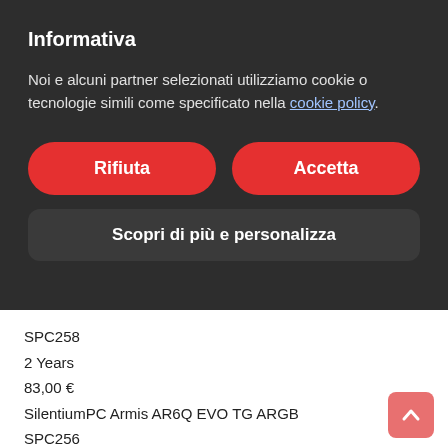Informativa
Noi e alcuni partner selezionati utilizziamo cookie o tecnologie simili come specificato nella cookie policy.
Rifiuta
Accetta
Scopri di più e personalizza
SPC258
2 Years
83,00 €
SilentiumPC Armis AR6Q EVO TG ARGB
SPC256